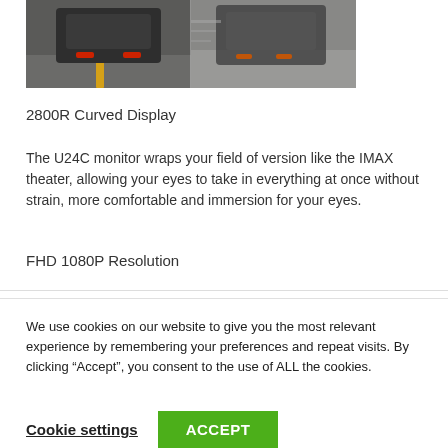[Figure (photo): Two cars photographed from above on a road, split image showing front views of dark colored vehicles in motion.]
2800R Curved Display
The U24C monitor wraps your field of version like the IMAX theater, allowing your eyes to take in everything at once without strain, more comfortable and immersion for your eyes.
FHD 1080P Resolution
We use cookies on our website to give you the most relevant experience by remembering your preferences and repeat visits. By clicking “Accept”, you consent to the use of ALL the cookies.
Cookie settings
ACCEPT